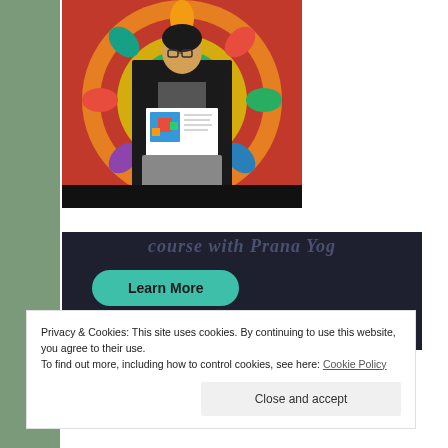[Figure (photo): A woman standing in front of a colorful mandala tapestry, holding a printed document or flyer with a colorful design.]
[Figure (screenshot): Dark navy banner section showing italic text 'course with Prana Yog' and a teal rounded 'Learn More' button.]
Privacy & Cookies: This site uses cookies. By continuing to use this website, you agree to their use. To find out more, including how to control cookies, see here: Cookie Policy
Close and accept